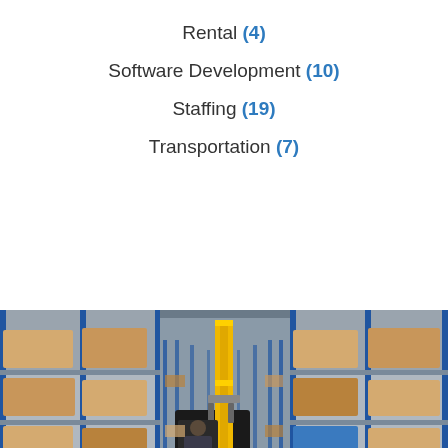Rental (4)
Software Development (10)
Staffing (19)
Transportation (7)
[Figure (photo): A warehouse interior showing tall blue metal shelving racks filled with boxes and pallets on both sides. A yellow forklift/reach truck is visible on the left side with an operator. The aisle extends into the distance with shelves on either side. The floor is a smooth grey concrete.]